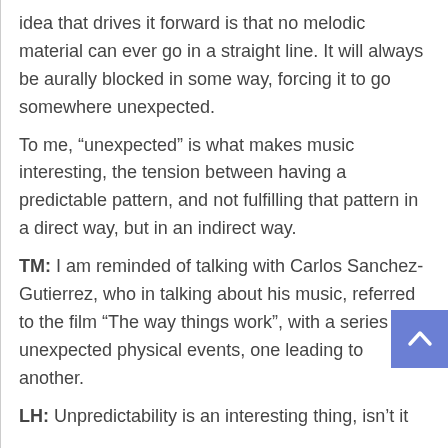idea that drives it forward is that no melodic material can ever go in a straight line. It will always be aurally blocked in some way, forcing it to go somewhere unexpected.
To me, “unexpected” is what makes music interesting, the tension between having a predictable pattern, and not fulfilling that pattern in a direct way, but in an indirect way.
TM: I am reminded of talking with Carlos Sanchez-Gutierrez, who in talking about his music, referred to the film “The way things work”, with a series of unexpected physical events, one leading to another.
LH: Unpredictability is an interesting thing, isn't it